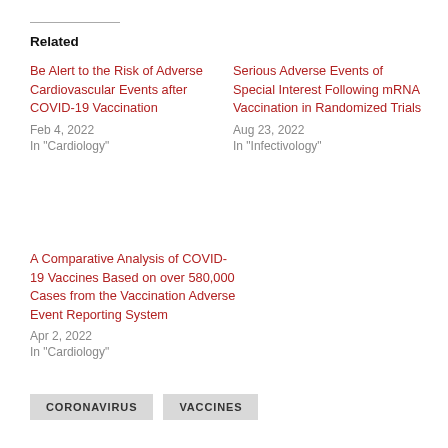Related
Be Alert to the Risk of Adverse Cardiovascular Events after COVID-19 Vaccination
Feb 4, 2022
In "Cardiology"
Serious Adverse Events of Special Interest Following mRNA Vaccination in Randomized Trials
Aug 23, 2022
In "Infectivology"
A Comparative Analysis of COVID-19 Vaccines Based on over 580,000 Cases from the Vaccination Adverse Event Reporting System
Apr 2, 2022
In "Cardiology"
CORONAVIRUS
VACCINES